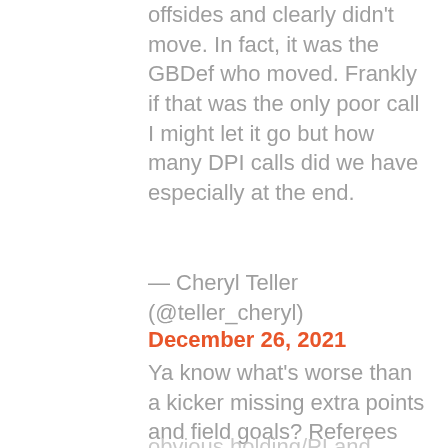offsides and clearly didn't move. In fact, it was the GBDef who moved. Frankly if that was the only poor call I might let it go but how many DPI calls did we have especially at the end.
— Cheryl Teller (@teller_cheryl) December 26, 2021
Ya know what's worse than a kicker missing extra points and field goals? Referees missing blatant and obvious holding/PI and illegal contact